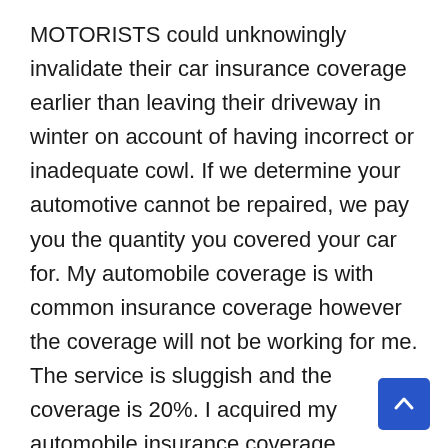MOTORISTS could unknowingly invalidate their car insurance coverage earlier than leaving their driveway in winter on account of having incorrect or inadequate cowl. If we determine your automotive cannot be repaired, we pay you the quantity you covered your car for. My automobile coverage is with common insurance coverage however the coverage will not be working for me. The service is sluggish and the coverage is 20%. I acquired my automobile insurance coverage renewed on-line and it took me hardly any time to take action.
This also recovers the price of private injury compensation, various journey arrangements, and lack of earnings amongst different issues that are not covered by our insurance coverage